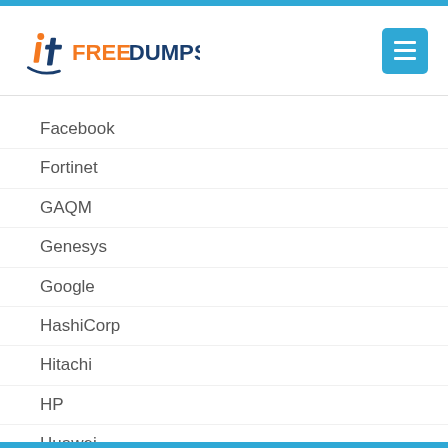[Figure (logo): itFreeDumps logo with stylized 'it' in blue/orange and 'FREEDUMPS' text in orange and dark blue]
Facebook
Fortinet
GAQM
Genesys
Google
HashiCorp
Hitachi
HP
Huawei
IAPP
IBM
IIA
IIBA